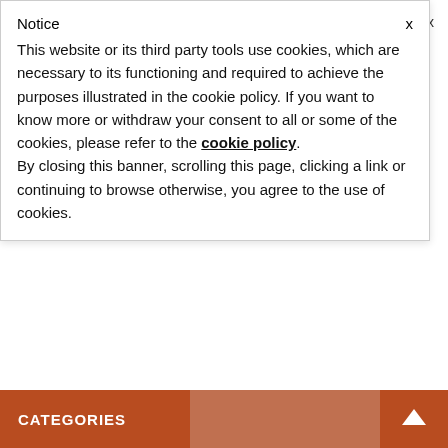Notice
This website or its third party tools use cookies, which are necessary to its functioning and required to achieve the purposes illustrated in the cookie policy. If you want to know more or withdraw your consent to all or some of the cookies, please refer to the cookie policy. By closing this banner, scrolling this page, clicking a link or continuing to browse otherwise, you agree to the use of cookies.
0
Kitāb At-Tawheed Chapter 1: The Excellence of Tawheed and Expiation Of Sins (Shaikh Ahmad an-Najmee)
7th December 2013  Abu Khadeejah Abdul-Wahid
Comments Off
CATEGORIES